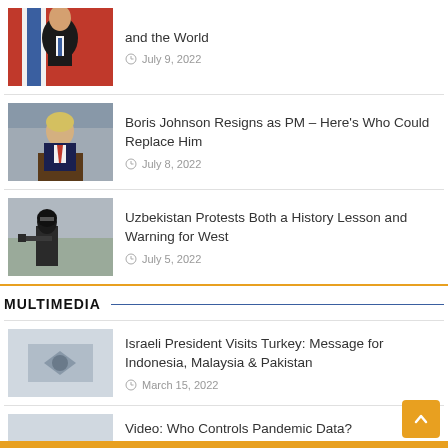[Figure (photo): Photo of person (partial top, first news item - Shinzo Abe with flags)]
and the World
July 9, 2022
[Figure (photo): Photo of Boris Johnson at podium]
Boris Johnson Resigns as PM – Here's Who Could Replace Him
July 8, 2022
[Figure (photo): Photo of armed soldier in dark gear]
Uzbekistan Protests Both a History Lesson and Warning for West
July 5, 2022
MULTIMEDIA
[Figure (photo): Multimedia thumbnail placeholder (light gray)]
Israeli President Visits Turkey: Message for Indonesia, Malaysia & Pakistan
March 15, 2022
Video: Who Controls Pandemic Data?